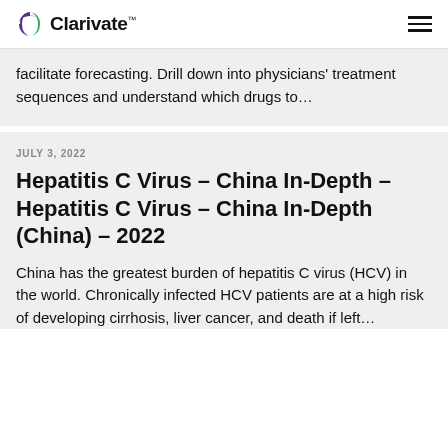Clarivate™
facilitate forecasting. Drill down into physicians' treatment sequences and understand which drugs to…
JULY 3, 2022
Hepatitis C Virus – China In-Depth – Hepatitis C Virus – China In-Depth (China) – 2022
China has the greatest burden of hepatitis C virus (HCV) in the world. Chronically infected HCV patients are at a high risk of developing cirrhosis, liver cancer, and death if left...